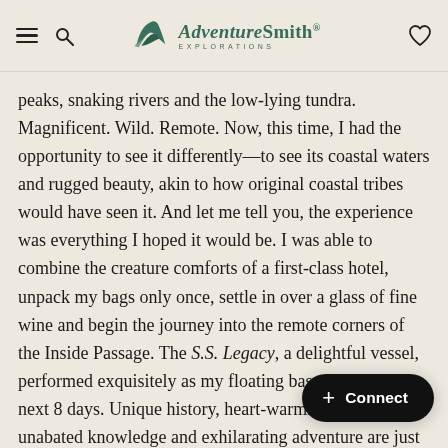AdventureSmith Explorations
peaks, snaking rivers and the low-lying tundra. Magnificent. Wild. Remote. Now, this time, I had the opportunity to see it differently—to see its coastal waters and rugged beauty, akin to how original coastal tribes would have seen it. And let me tell you, the experience was everything I hoped it would be. I was able to combine the creature comforts of a first-class hotel, unpack my bags only once, settle in over a glass of fine wine and begin the journey into the remote corners of the Inside Passage. The S.S. Legacy, a delightful vessel, performed exquisitely as my floating basecamp over the next 8 days. Unique history, heart-warming culture, unabated knowledge and exhilarating adventure are just a few key points of what I experienc…